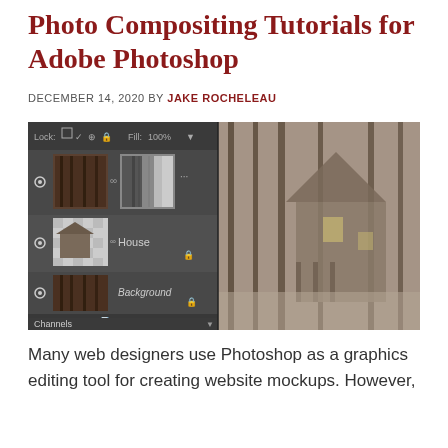Photo Compositing Tutorials for Adobe Photoshop
DECEMBER 14, 2020 BY JAKE ROCHELEAU
[Figure (screenshot): Adobe Photoshop layers panel showing a Channels panel with layer thumbnails including 'House' and 'Background' layers on the left, and a composited photo of a spooky house in a foggy forest on the right.]
Many web designers use Photoshop as a graphics editing tool for creating website mockups. However,